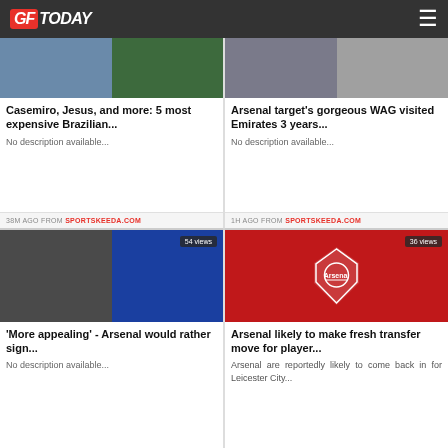GFToday
[Figure (photo): Two football photos side by side, partially visible at top]
Casemiro, Jesus, and more: 5 most expensive Brazilian...
No description available...
38M AGO FROM SPORTSKEEDA.COM
[Figure (photo): Two football photos side by side, partially visible at top]
Arsenal target's gorgeous WAG visited Emirates 3 years...
No description available...
1H AGO FROM SPORTSKEEDA.COM
[Figure (photo): Mikel Arteta and a Crystal Palace player, 54 views badge]
'More appealing' - Arsenal would rather sign...
No description available...
[Figure (photo): Arsenal logo on red background, 36 views badge]
Arsenal likely to make fresh transfer move for player...
Arsenal are reportedly likely to come back in for Leicester City...